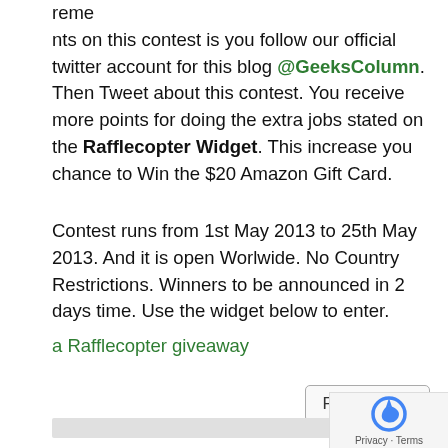reme
nts on this contest is you follow our official twitter account for this blog @GeeksColumn. Then Tweet about this contest. You receive more points for doing the extra jobs stated on the Rafflecopter Widget. This increase you chance to Win the $20 Amazon Gift Card.
Contest runs from 1st May 2013 to 25th May 2013. And it is open Worlwide. No Country Restrictions. Winners to be announced in 2 days time. Use the widget below to enter.
a Rafflecopter giveaway
Favorite ☆1